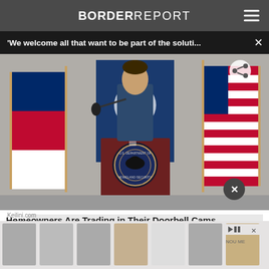BORDER REPORT
'We welcome all that want to be part of the soluti... ×
[Figure (photo): A man in a blue Department of Homeland Security jacket stands at a dark wood podium bearing the U.S. Department of Homeland Security seal. Behind him are the Texas flag on the left and the American flag on the right, along with a blue DHS flag in the center background.]
Homeowners Are Trading in Their Doorbell Cams for This
Keilini.com
[Figure (photo): Advertisement showing a strip of phone case accessories/crossbody phone holders in various colors and styles.]